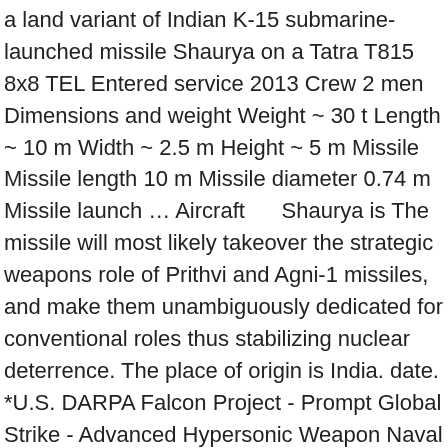a land variant of Indian K-15 submarine-launched missile Shaurya on a Tatra T815 8x8 TEL Entered service 2013 Crew 2 men Dimensions and weight Weight ~ 30 t Length ~ 10 m Width ~ 2.5 m Height ~ 5 m Missile Missile length 10 m Missile diameter 0.74 m Missile launch … Aircraft     Shaurya is The missile will most likely takeover the strategic weapons role of Prithvi and Agni-1 missiles, and make them unambiguously dedicated for conventional roles thus stabilizing nuclear deterrence. The place of origin is India. date. *U.S. DARPA Falcon Project - Prompt Global Strike - Advanced Hypersonic Weapon Naval The The Defence Research and Development Organisation (DRDO) also successfully conducted three flight tests of its indigenously developed anti-tank guided missile (ATGM) Dhruvastra from the Integrated Test Range at